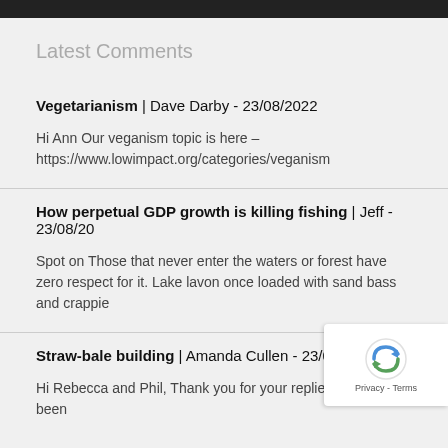Latest Comments
Vegetarianism | Dave Darby - 23/08/2022
Hi Ann Our veganism topic is here – https://www.lowimpact.org/categories/veganism
How perpetual GDP growth is killing fishing | Jeff - 23/08/20
Spot on Those that never enter the waters or forest have zero respect for it. Lake lavon once loaded with sand bass and crappie
Straw-bale building | Amanda Cullen - 23/08/2022
Hi Rebecca and Phil, Thank you for your replies, sorry, I've been